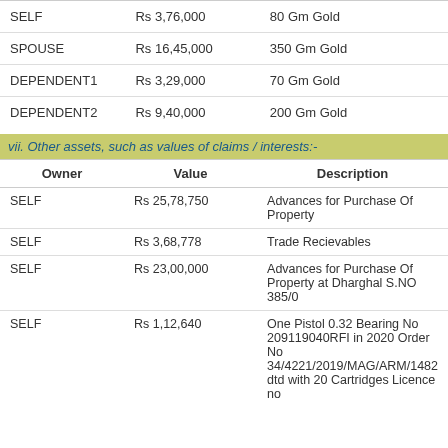|  |  |  |
| --- | --- | --- |
| SELF | Rs 3,76,000 | 80 Gm Gold |
| SPOUSE | Rs 16,45,000 | 350 Gm Gold |
| DEPENDENT1 | Rs 3,29,000 | 70 Gm Gold |
| DEPENDENT2 | Rs 9,40,000 | 200 Gm Gold |
vii. Other assets, such as values of claims / interests:-
| Owner | Value | Description |
| --- | --- | --- |
| SELF | Rs 25,78,750 | Advances for Purchase Of Property |
| SELF | Rs 3,68,778 | Trade Recievables |
| SELF | Rs 23,00,000 | Advances for Purchase Of Property at Dharghal S.NO 385/0 |
| SELF | Rs 1,12,640 | One Pistol 0.32 Bearing No 209119040RFI in 2020 Order No 34/4221/2019/MAG/ARM/1482 dtd with 20 Cartridges Licence no |